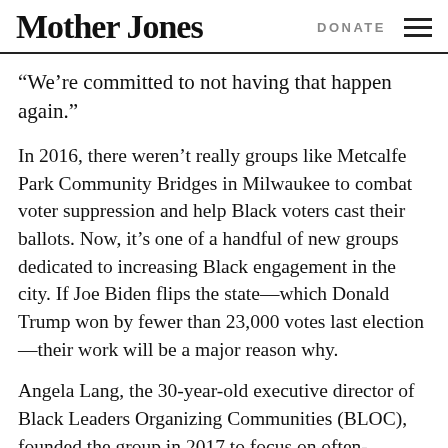Mother Jones  DONATE
“We’re committed to not having that happen again.”
In 2016, there weren’t really groups like Metcalfe Park Community Bridges in Milwaukee to combat voter suppression and help Black voters cast their ballots. Now, it’s one of a handful of new groups dedicated to increasing Black engagement in the city. If Joe Biden flips the state—which Donald Trump won by fewer than 23,000 votes last election—their work will be a major reason why.
Angela Lang, the 30-year-old executive director of Black Leaders Organizing Communities (BLOC), founded the group in 2017 to focus on often-overlooked Black neighborhoods in Milwaukee. “We